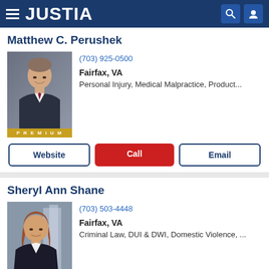JUSTIA
Matthew C. Perushek
(703) 925-0500
Fairfax, VA
Personal Injury, Medical Malpractice, Product...
Sheryl Ann Shane
(703) 503-4448
Fairfax, VA
Criminal Law, DUI & DWI, Domestic Violence, ...